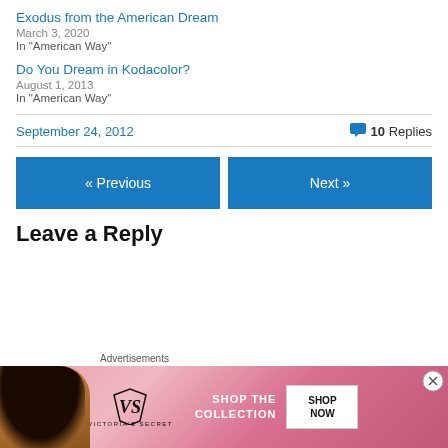Exodus from the American Dream
March 3, 2020
In "American Way"
Do You Dream in Kodacolor?
August 1, 2013
In "American Way"
September 24, 2012
10 Replies
« Previous
Next »
Leave a Reply
[Figure (photo): Victoria's Secret advertisement banner with model, logo, 'SHOP THE COLLECTION' text and 'SHOP NOW' button]